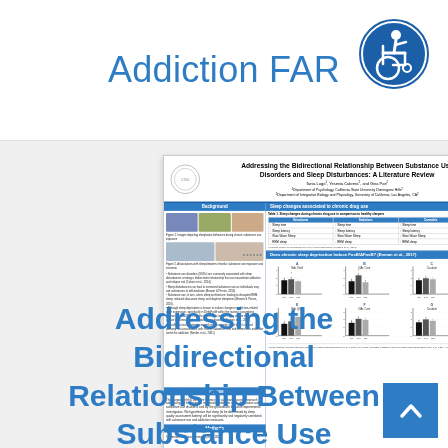Addiction FAR
[Figure (other): Accessibility icon - person in wheelchair]
[Figure (other): Research poster thumbnail: Addressing the Bidirectional Relationship Between Substance Use Disorders and Sleep Disturbances: A Literature Review. By Tania Lugo, Yesenia Cabrera, and Gina Poe. Departments of Psychology and Integrative Biology. Contains background section with images, sleep changes table, bar charts showing FosB/deltaFosB data, purpose and methods sections.]
Addressing the Bidirectional Relationship Between Substance Use
[Figure (other): Blue square scroll-to-top button with upward chevron]